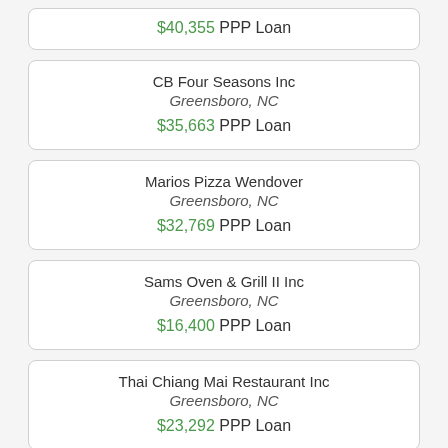$40,355 PPP Loan
CB Four Seasons Inc
Greensboro, NC
$35,663 PPP Loan
Marios Pizza Wendover
Greensboro, NC
$32,769 PPP Loan
Sams Oven & Grill II Inc
Greensboro, NC
$16,400 PPP Loan
Thai Chiang Mai Restaurant Inc
Greensboro, NC
$23,292 PPP Loan
JND Foodpara LLC